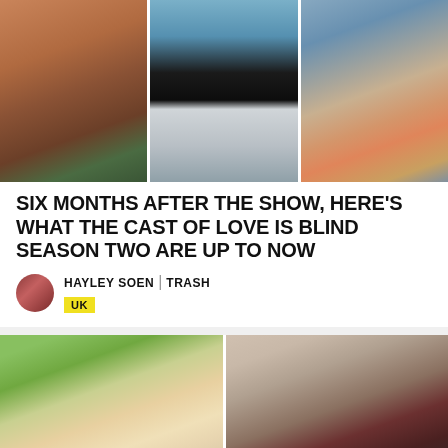[Figure (photo): Three photos side by side: left photo of an Asian woman in a brown top smiling outdoors, center photo of a couple (woman in black dress, man in light blue blazer) posing together, right photo of a man in a patterned shirt holding a dog wearing an orange life jacket]
SIX MONTHS AFTER THE SHOW, HERE'S WHAT THE CAST OF LOVE IS BLIND SEASON TWO ARE UP TO NOW
HAYLEY SOEN | TRASH
UK
[Figure (photo): Two photos side by side: left photo of a blonde woman smiling outdoors with yellow flowers in background, right photo of a man with sunglasses sitting in what appears to be a private jet wearing a burgundy jacket]